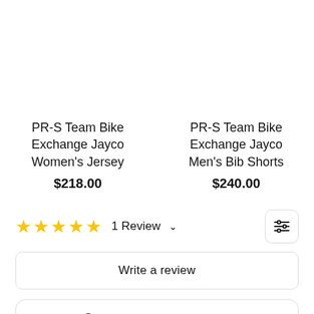PR-S Team Bike Exchange Jayco Women's Jersey
$218.00
PR-S Team Bike Exchange Jayco Men's Bib Shorts
$240.00
★★★★★ 1 Review ∨
Write a review
Cathy A. ✓
7/27/2022
Chat with us